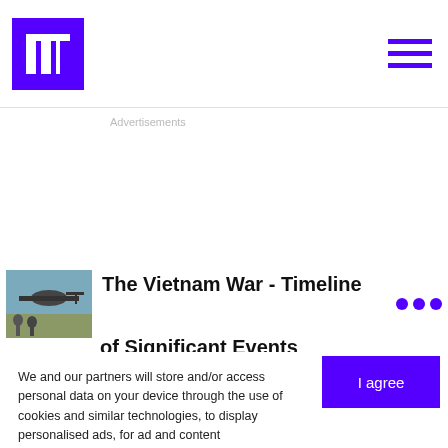Logo and navigation header
Advertisements
[Figure (screenshot): Article preview thumbnail showing a helicopter and soldiers - The Vietnam War - Timeline of Significant Events]
The Vietnam War - Timeline of Significant Events
We and our partners will store and/or access personal data on your device through the use of cookies and similar technologies, to display personalised ads, for ad and content measurement, audience insights and product development.

By clicking 'I agree,' you consent to this, or you can manage your preferences.